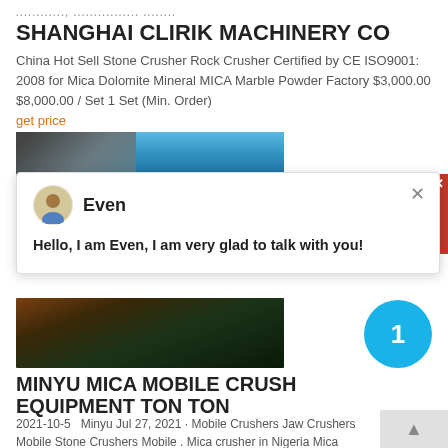SHANGHAI CLIRIK MACHINERY CO
China Hot Sell Stone Crusher Rock Crusher Certified by CE ISO9001: 2008 for Mica Dolomite Mineral MICA Marble Powder Factory $3,000.00 $8,000.00 / Set 1 Set (Min. Order)
get price
[Figure (photo): Partial image of industrial machinery with blue sky background]
[Figure (screenshot): Chat popup with avatar of agent named Even saying: Hello, I am Even, I am very glad to talk with you!]
[Figure (photo): Industrial machinery/crusher equipment at night or dim lighting]
MINYU MICA MOBILE CRUSH EQUIPMENT TON TON
2021-10-5   Minyu Jul 27, 2021 · Mobile Crushers Jaw Crushers Mobile Stone Crushers Mobile . Mica crusher in Nigeria Mica